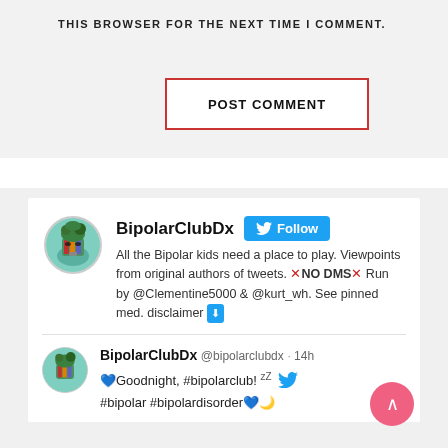THIS BROWSER FOR THE NEXT TIME I COMMENT.
POST COMMENT
[Figure (screenshot): Twitter follow widget for BipolarClubDx with profile info and a tweet]
BipolarClubDx Follow
All the Bipolar kids need a place to play. Viewpoints from original authors of tweets. ✗NO DMS✗ Run by @Clementine5000 & @kurt_wh. See pinned med. disclaimer ⬇
BipolarClubDx @bipolarclubdx · 14h
🧡Goodnight, #bipolarclub! ᶻᶻ 🐦 #bipolar #bipolardisorder🧡